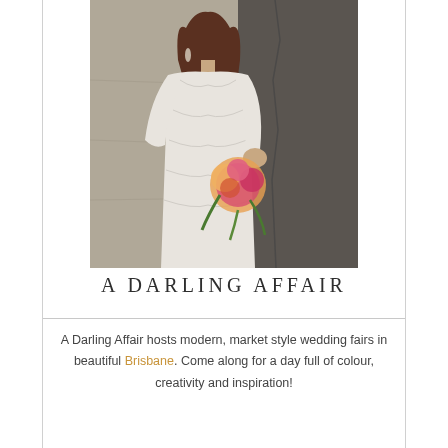[Figure (photo): A woman in a white lace wedding dress holding a colorful bridal bouquet, standing against a textured stone wall background.]
A DARLING AFFAIR
A Darling Affair hosts modern, market style wedding fairs in beautiful Brisbane. Come along for a day full of colour, creativity and inspiration!